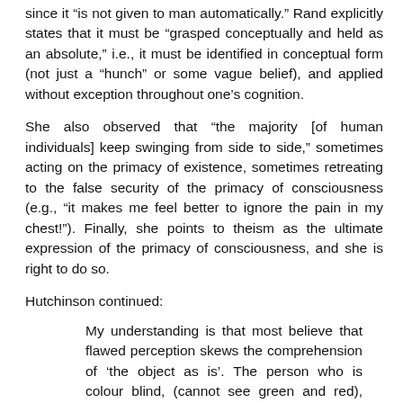since it “is not given to man automatically.” Rand explicitly states that it must be “grasped conceptually and held as an absolute,” i.e., it must be identified in conceptual form (not just a “hunch” or some vague belief), and applied without exception throughout one’s cognition.
She also observed that “the majority [of human individuals] keep swinging from side to side,” sometimes acting on the primacy of existence, sometimes retreating to the false security of the primacy of consciousness (e.g., “it makes me feel better to ignore the pain in my chest!”). Finally, she points to theism as the ultimate expression of the primacy of consciousness, and she is right to do so.
Hutchinson continued:
My understanding is that most believe that flawed perception skews the comprehension of ‘the object as is’. The person who is colour blind, (cannot see green and red), cannot perceive the object as is.
In her opinion, “the senses do not” and this is